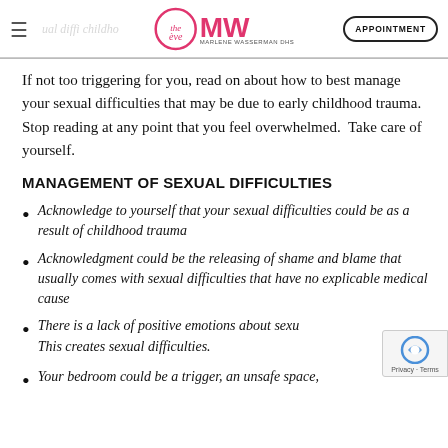Marlene Wasserman DHS — APPOINTMENT
If not too triggering for you, read on about how to best manage your sexual difficulties that may be due to early childhood trauma.  Stop reading at any point that you feel overwhelmed.  Take care of yourself.
MANAGEMENT OF SEXUAL DIFFICULTIES
Acknowledge to yourself that your sexual difficulties could be as a result of childhood trauma
Acknowledgment could be the releasing of shame and blame that usually comes with sexual difficulties that have no explicable medical cause
There is a lack of positive emotions about sexuality. This creates sexual difficulties.
Your bedroom could be a trigger, an unsafe space,